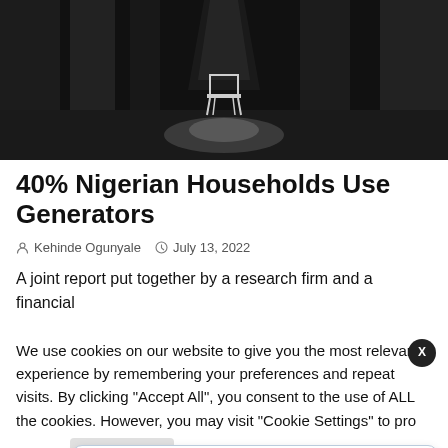[Figure (photo): Black and white photo of a lone chair under a spotlight in a dark industrial or abandoned space]
40% Nigerian Households Use Generators
Kehinde Ogunyale   July 13, 2022
A joint report put together by a research firm and a financial
We use cookies on our website to give you the most relevant experience by remembering your preferences and repeat visits. By clicking "Accept All", you consent to the use of ALL the cookies. However, you may visit "Cookie Settings" to pro
Contributory Pension Assets Rise To N14.36tn
8 hours ago